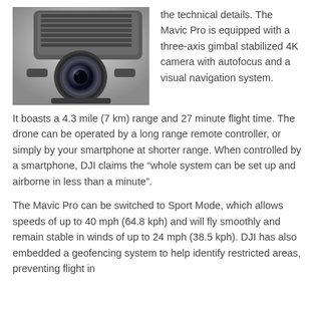[Figure (photo): Close-up photo of a DJI Mavic Pro gimbal-stabilized camera with lens visible, dark metallic components against a light grey background.]
the technical details. The Mavic Pro is equipped with a three-axis gimbal stabilized 4K camera with autofocus and a visual navigation system. It boasts a 4.3 mile (7 km) range and 27 minute flight time. The drone can be operated by a long range remote controller, or simply by your smartphone at shorter range. When controlled by a smartphone, DJI claims the “whole system can be set up and airborne in less than a minute”.
The Mavic Pro can be switched to Sport Mode, which allows speeds of up to 40 mph (64.8 kph) and will fly smoothly and remain stable in winds of up to 24 mph (38.5 kph). DJI has also embedded a geofencing system to help identify restricted areas, preventing flight in